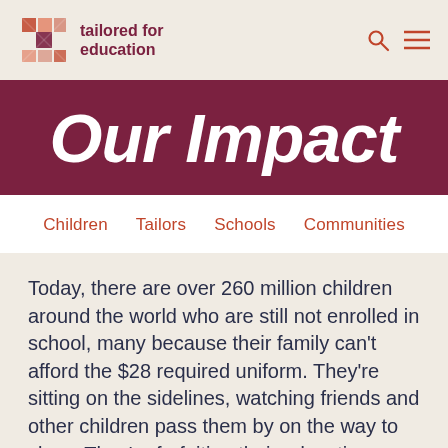tailored for education
Our Impact
Children
Tailors
Schools
Communities
Today, there are over 260 million children around the world who are still not enrolled in school, many because their family can't afford the $28 required uniform. They're sitting on the sidelines, watching friends and other children pass them by on the way to class. They're forfeiting their education – and with it, the pursuit of a better